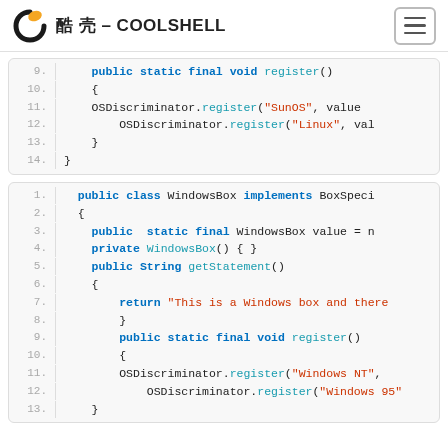酷 壳 – COOLSHELL
[Figure (screenshot): Code block showing lines 9-14 of a Java class with public static final void register() method calling OSDiscriminator.register with SunOS and Linux parameters]
[Figure (screenshot): Code block showing lines 1-12 of WindowsBox Java class implementing BoxSpecializer with public static final WindowsBox value, private constructor, getStatement() returning string, public static final void register() calling OSDiscriminator.register with Windows NT and Windows 95 parameters]